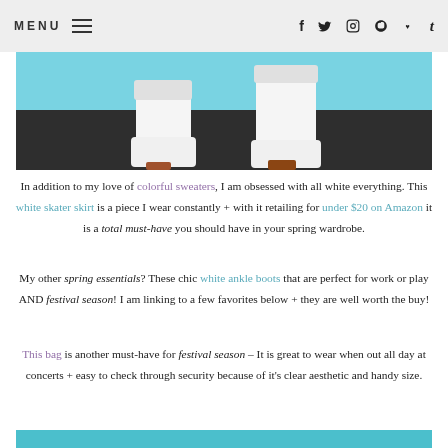MENU  [hamburger icon]  f  t  [instagram]  [pinterest]  [heart]  t
[Figure (photo): Close-up photo of white ankle boots with wooden block heels against a blue wall background]
In addition to my love of colorful sweaters, I am obsessed with all white everything. This white skater skirt is a piece I wear constantly + with it retailing for under $20 on Amazon it is a total must-have you should have in your spring wardrobe.
My other spring essentials? These chic white ankle boots that are perfect for work or play AND festival season! I am linking to a few favorites below + they are well worth the buy!
This bag is another must-have for festival season – It is great to wear when out all day at concerts + easy to check through security because of it's clear aesthetic and handy size.
[Figure (photo): Bottom portion of a teal/blue colored image, partially visible at the bottom of the page]